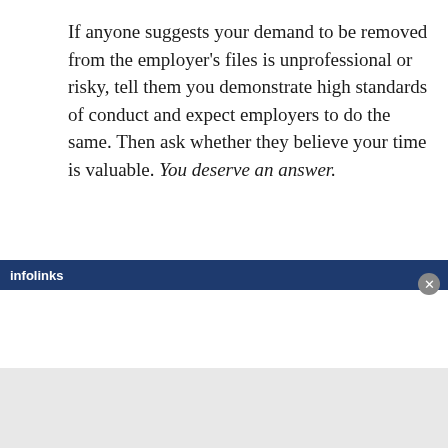If anyone suggests your demand to be removed from the employer’s files is unprofessional or risky, tell them you demonstrate high standards of conduct and expect employers to do the same. Then ask whether they believe your time is valuable. You deserve an answer.
Your host’s reputation is on the line
If I seem cynical and intolerant, perhaps it’s because I’ve seen employers disrespect job candidates too much. Life
[Figure (screenshot): Infolinks advertisement bar at the bottom of the page with a close button]